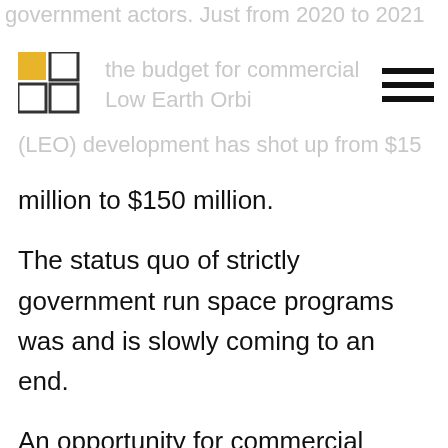government actors. Just from 2020 to 2021 the budget for commercial Low Earth Orbit (LEO) development has shot up from $15
million to $150 million.
The status quo of strictly government run space programs was and is slowly coming to an end.
An opportunity for commercial development of space has naturally led to a growing number of competing companies. Three of these eager companies—SpaceX, Blue Origin, and Virgin Galactic, are led by